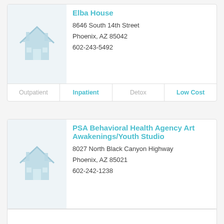Elba House
8646 South 14th Street
Phoenix, AZ 85042
602-243-5492
Outpatient | Inpatient | Detox | Low Cost
PSA Behavioral Health Agency Art Awakenings/Youth Studio
8027 North Black Canyon Highway
Phoenix, AZ 85021
602-242-1238
Outpatient | Inpatient | Detox | Low Cost